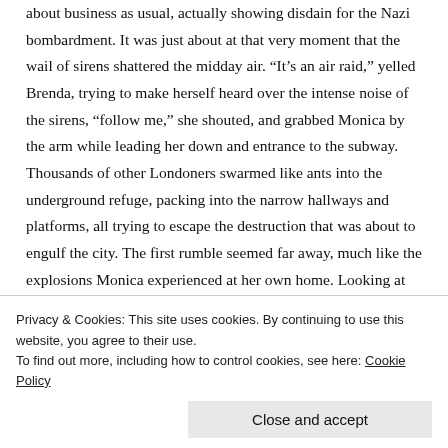about business as usual, actually showing disdain for the Nazi bombardment. It was just about at that very moment that the wail of sirens shattered the midday air. “It’s an air raid,” yelled Brenda, trying to make herself heard over the intense noise of the sirens, “follow me,” she shouted, and grabbed Monica by the arm while leading her down and entrance to the subway. Thousands of other Londoners swarmed like ants into the underground refuge, packing into the narrow hallways and platforms, all trying to escape the destruction that was about to engulf the city. The first rumble seemed far away, much like the explosions Monica experienced at her own home. Looking at Brenda, Monica remarked, “That wasn’t too bad,
Privacy & Cookies: This site uses cookies. By continuing to use this website, you agree to their use.
To find out more, including how to control cookies, see here: Cookie Policy
Close and accept